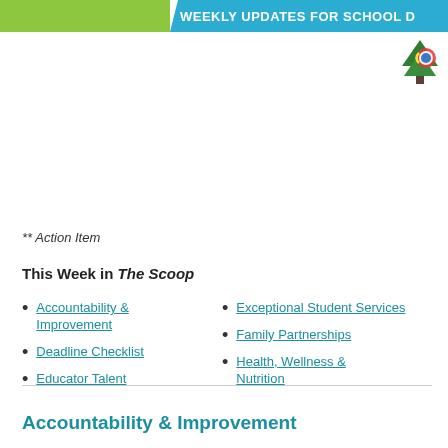WEEKLY UPDATES FOR SCHOOL D
** Action Item
This Week in The Scoop
Accountability & Improvement
Deadline Checklist
Educator Talent
Exceptional Student Services
Family Partnerships
Health, Wellness & Nutrition
Accountability & Improvement